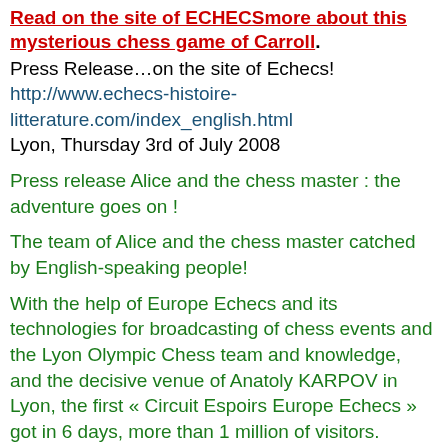Read on the site of ECHECSmore about this mysterious chess game of Carroll.
Press Release…on the site of Echecs!
http://www.echecs-histoire-litterature.com/index_english.html
Lyon, Thursday 3rd of July 2008
Press release Alice and the chess master : the adventure goes on !
The team of Alice and the chess master catched by English-speaking people!
With the help of Europe Echecs and its technologies for broadcasting of chess events and the Lyon Olympic Chess team and knowledge, and the decisive venue of Anatoly KARPOV in Lyon, the first « Circuit Espoirs Europe Echecs » got in 6 days, more than 1 million of visitors.